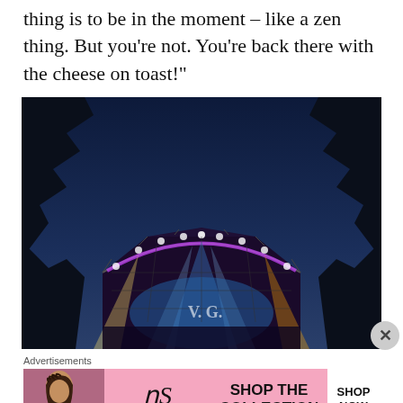thing is to be in the moment – like a zen thing. But you're not. You're back there with the cheese on toast!"
[Figure (photo): Outdoor concert stage at night with blue, purple and yellow stage lights illuminating a tent-like structure, surrounded by dark tree silhouettes against a deep blue night sky.]
Advertisements
[Figure (other): Victoria's Secret advertisement banner with a model, VS logo, text 'SHOP THE COLLECTION', and a 'SHOP NOW' button.]